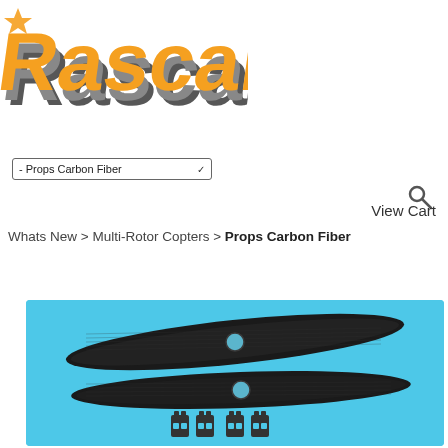[Figure (logo): Rascal brand logo in orange and dark/gray 3D style text]
- Props Carbon Fiber
[Figure (illustration): Search icon (magnifying glass)]
View Cart
Whats New > Multi-Rotor Copters > Props Carbon Fiber
[Figure (photo): Two carbon fiber propeller blades on a blue background, with small plastic hub adapters below them]